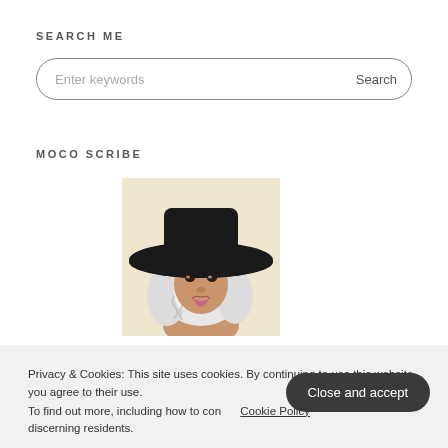SEARCH ME
[Figure (other): Search input box with placeholder 'Enter keywords' and 'Search' button, styled with rounded border]
MOCO SCRIBE
[Figure (illustration): Illustrated avatar of a woman with white/silver hair and a large black wide-brim hat, on a beige background]
Privacy & Cookies: This site uses cookies. By continuing to use this website, you agree to their use. To find out more, including how to con…
Cookie Policy
Close and accept
discerning residents.